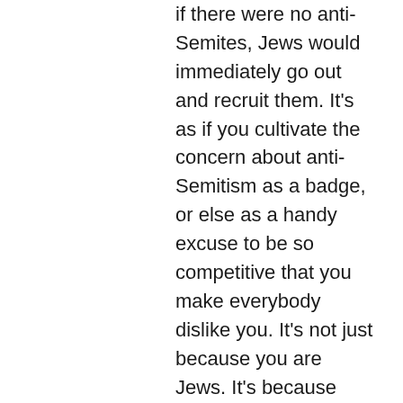if there were no anti-Semites, Jews would immediately go out and recruit them. It's as if you cultivate the concern about anti-Semitism as a badge, or else as a handy excuse to be so competitive that you make everybody dislike you. It's not just because you are Jews. It's because you're doing something that somebody else doesn't like. I'm an Anglo Saxon. I don't go around saying that people hate Anglo Saxons for no reason other than we're Anglo Saxon. When people hate us it's because we have a history of violence and large scale theft. Notice that Jews think it an infamy that Arabs hate Jews but if Jews hate Arabs this a reasonable reaction to the hatefulness of Arabs. Well come on. Any Arab is Gaza who does not